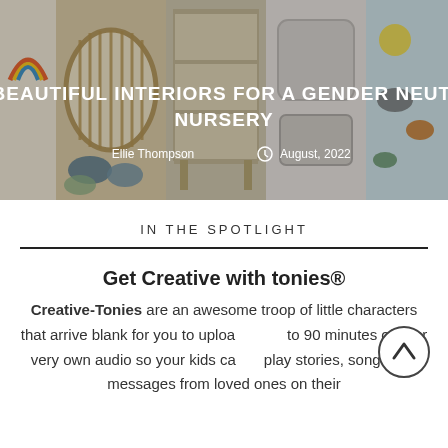[Figure (photo): Hero banner collage of gender-neutral nursery items including a round crib, bookshelf, stuffed animal octopus, storage baskets, and nursery accessories. Overlaid white text reads 'OR BEAUTIFUL INTERIORS FOR A GENDER NEUTRAL NURSERY' with author 'Ellie Thompson' and date 'August, 2022'.]
IN THE SPOTLIGHT
Get Creative with tonies®
Creative-Tonies are an awesome troop of little characters that arrive blank for you to upload up to 90 minutes of your very own audio so your kids can play stories, songs and messages from loved ones on their